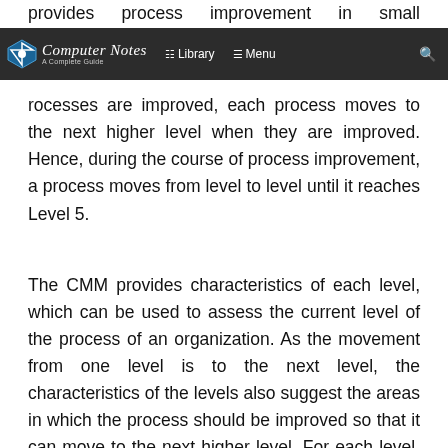provides process improvement in small increments as processes are improved, each process moves to the next higher level when they are improved. Hence, during the course of process improvement, a process moves from level to level until it reaches Level 5.
Computer Notes A Complete Guide | Library | Menu | Search
The CMM provides characteristics of each level, which can be used to assess the current level of the process of an organization. As the movement from one level is to the next level, the characteristics of the levels also suggest the areas in which the process should be improved so that it can move to the next higher level. For each level, it specifies the areas in which improvement can be absorbed & will bring the maximum benefits.
Level 1.   The initial process is an ad-hoc process that has no formalized method for any activity. Basic project...